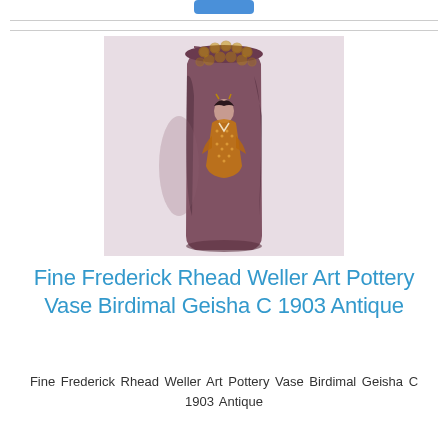[Figure (photo): Photograph of a tall cylindrical art pottery vase with a dark reddish-brown glaze, decorative honeycomb/bubble pattern at the top rim, and a painted geisha figure on the body. The vase tapers slightly at the base.]
Fine Frederick Rhead Weller Art Pottery Vase Birdimal Geisha C 1903 Antique
Fine Frederick Rhead Weller Art Pottery Vase Birdimal Geisha C 1903 Antique